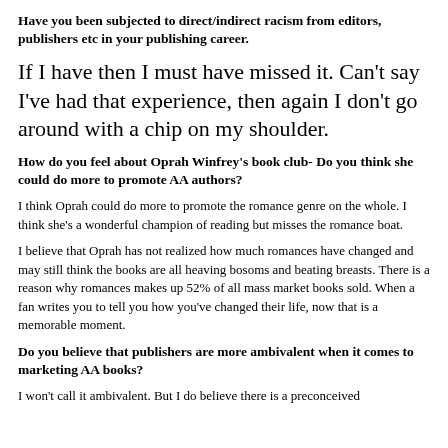Have you been subjected to direct/indirect racism from editors, publishers etc in your publishing career.
If I have then I must have missed it. Can't say I've had that experience, then again I don't go around with a chip on my shoulder.
How do you feel about Oprah Winfrey's book club- Do you think she could do more to promote AA authors?
I think Oprah could do more to promote the romance genre on the whole. I think she's a wonderful champion of reading but misses the romance boat.
I believe that Oprah has not realized how much romances have changed and may still think the books are all heaving bosoms and beating breasts. There is a reason why romances makes up 52% of all mass market books sold. When a fan writes you to tell you how you've changed their life, now that is a memorable moment.
Do you believe that publishers are more ambivalent when it comes to marketing AA books?
I won't call it ambivalent. But I do believe there is a preconceived